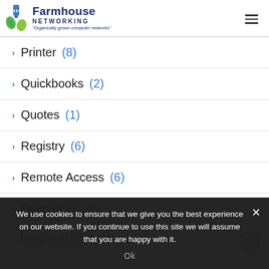Farmhouse Networking — Organically grown computer networks
Printer (8)
Quickbooks (2)
Quotes (1)
Registry (6)
Remote Access (6)
Resources (1)
RingCentral (1)
We use cookies to ensure that we give you the best experience on our website. If you continue to use this site we will assume that you are happy with it.
Ok